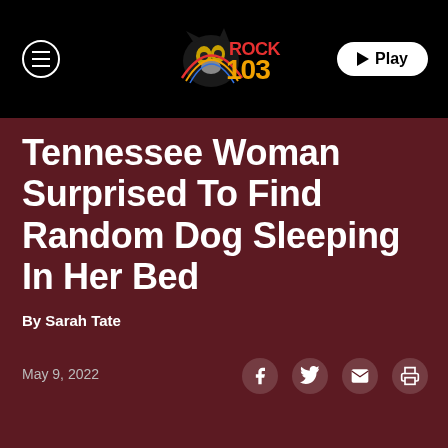[Figure (logo): Rock 103 radio station logo with stylized panther and colorful text]
Tennessee Woman Surprised To Find Random Dog Sleeping In Her Bed
By Sarah Tate
May 9, 2022